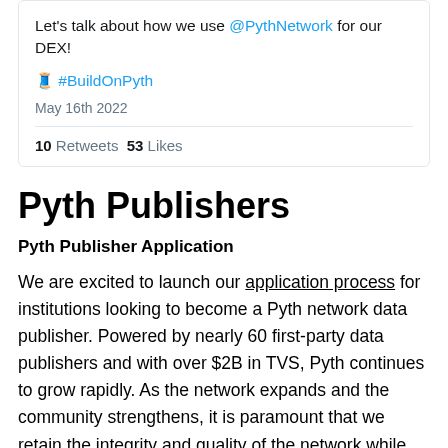Let's talk about how we use @PythNetwork for our DEX!
🧵 #BuildOnPyth
May 16th 2022
10 Retweets  53 Likes
Pyth Publishers
Pyth Publisher Application
We are excited to launch our application process for institutions looking to become a Pyth network data publisher. Powered by nearly 60 first-party data publishers and with over $2B in TVS, Pyth continues to grow rapidly. As the network expands and the community strengthens, it is paramount that we retain the integrity and quality of the network while...